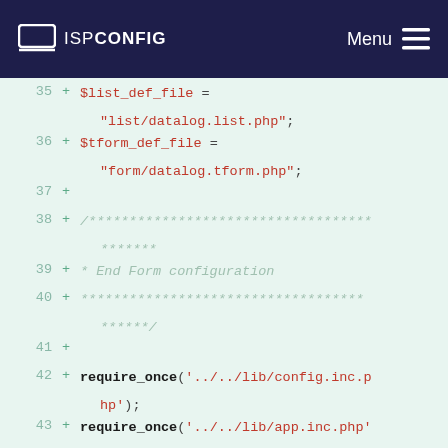ISPConfig Menu
[Figure (screenshot): Code diff viewer showing PHP source lines 35-47 with green additions on light green background]
35 + $list_def_file = "list/datalog.list.php";
36 + $tform_def_file = "form/datalog.tform.php";
37 +
38 + /***********************************
  ******* 
39 + * End Form configuration
40 + ***********************************
  ******/
41 +
42 + require_once('../../lib/config.inc.php');
43 + require_once('../../lib/app.inc.php');
44 +
45 + //* Check permissions for module
46 + $app->auth->check_module_permissions('admin');
47 +